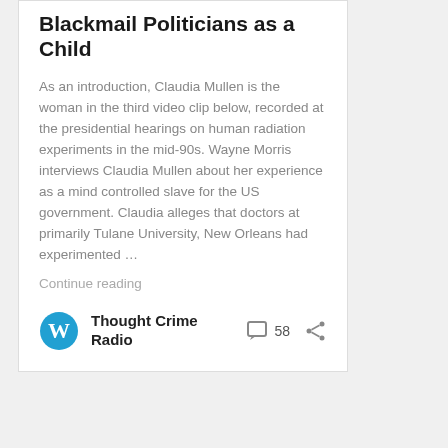Blackmail Politicians as a Child
As an introduction, Claudia Mullen is the woman in the third video clip below, recorded at the presidential hearings on human radiation experiments in the mid-90s. Wayne Morris interviews Claudia Mullen about her experience as a mind controlled slave for the US government. Claudia alleges that doctors at primarily Tulane University, New Orleans had experimented …
Continue reading
Thought Crime Radio  58